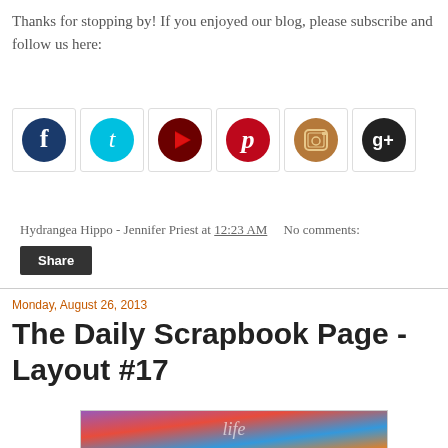Thanks for stopping by! If you enjoyed our blog, please subscribe and follow us here:
[Figure (illustration): Six social media icon buttons: Facebook (dark blue circle with f), Twitter (cyan circle with t), YouTube/Play (dark red circle with play triangle), Pinterest (red circle with P), Instagram (brown/tan circle with camera), Google+ (dark circle with g+)]
Hydrangea Hippo - Jennifer Priest at 12:23 AM   No comments:
Share
Monday, August 26, 2013
The Daily Scrapbook Page - Layout #17
[Figure (photo): Partial preview of a colorful scrapbook page image at bottom of the viewport]